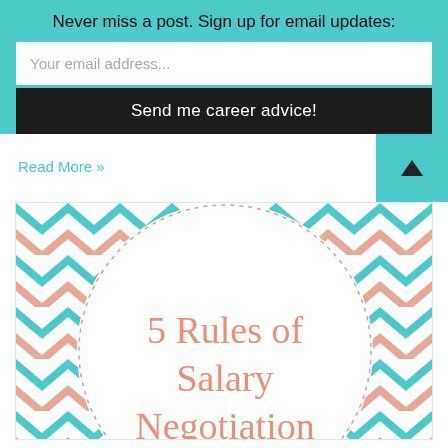Never miss a post. Sign up for email updates:
Your email address...
Send me career advice!
Read More »
[Figure (illustration): Decorative infographic image with teal and salmon/pink chevron geometric pattern border forming an arch frame, with white dotted circle in center and text '5 Rules of Salary Negotiation' in salmon/pink color on white background]